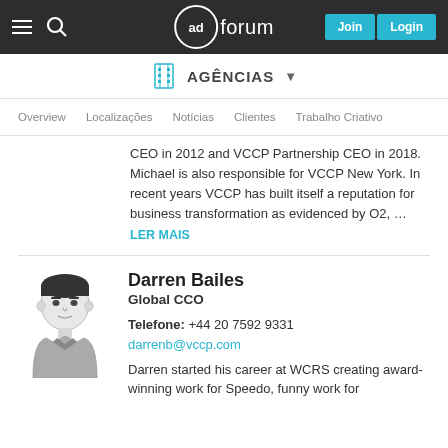adforum — Join | Login
AGÊNCIAS ▾
Overview  Localizações  Notícias  Clientes  Trabalho Criativo
CEO in 2012 and VCCP Partnership CEO in 2018. Michael is also responsible for VCCP New York. In recent years VCCP has built itself a reputation for business transformation as evidenced by O2, … LER MAIS
[Figure (illustration): Illustrated avatar portrait of Darren Bailes, a man with dark hair wearing a grey collared shirt]
Darren Bailes
Global CCO
Telefone: +44 20 7592 9331
darrenb@vccp.com
Darren started his career at WCRS creating award-winning work for Speedo, funny work for